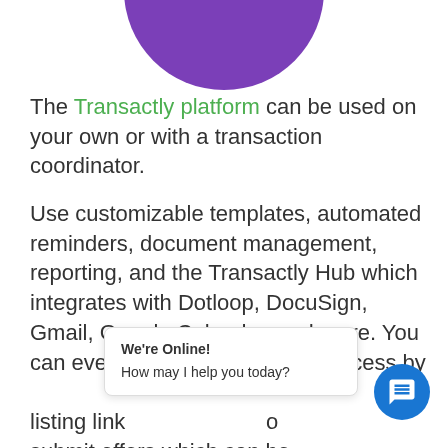[Figure (illustration): Partial purple circle visible at top center of page]
The Transactly platform can be used on your own or with a transaction coordinator.
Use customizable templates, automated reminders, document management, reporting, and the Transactly Hub which integrates with Dotloop, DocuSign, Gmail, Google Calendar, and more. You can even streamline the offer process by ... listing link ... o submit offers which can be
We're Online! How may I help you today?